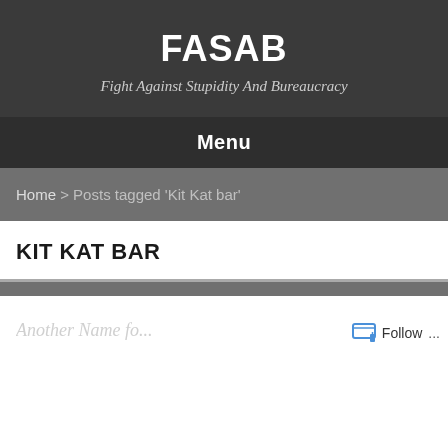FASAB
Fight Against Stupidity And Bureaucracy
Menu
Home > Posts tagged 'Kit Kat bar'
KIT KAT BAR
Follow ...